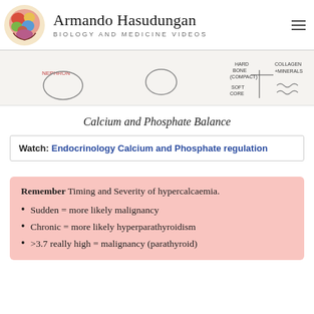Armando Hasudungan | BIOLOGY AND MEDICINE VIDEOS
[Figure (screenshot): Banner image showing biology/medicine diagrams including bone structures and annotations]
Calcium and Phosphate Balance
Watch: Endocrinology Calcium and Phosphate regulation
Remember Timing and Severity of hypercalcaemia.
Sudden = more likely malignancy
Chronic = more likely hyperparathyroidism
>3.7 really high = malignancy (parathyroid)